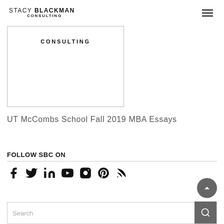STACY BLACKMAN CONSULTING
[Figure (logo): Stacy Blackman Consulting logo box with CONSULTING text]
UT McCombs School Fall 2019 MBA Essays
FOLLOW SBC ON
[Figure (infographic): Social media icons: Facebook, Twitter, LinkedIn, YouTube, Instagram, Pinterest, RSS]
Search